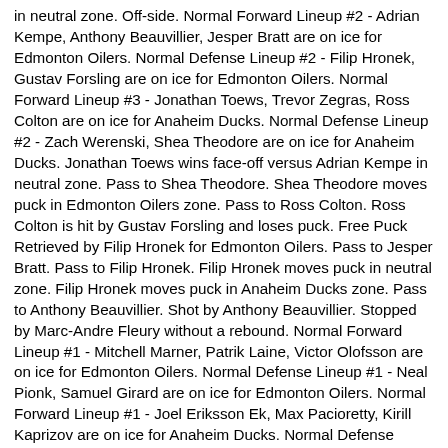in neutral zone. Off-side. Normal Forward Lineup #2 - Adrian Kempe, Anthony Beauvillier, Jesper Bratt are on ice for Edmonton Oilers. Normal Defense Lineup #2 - Filip Hronek, Gustav Forsling are on ice for Edmonton Oilers. Normal Forward Lineup #3 - Jonathan Toews, Trevor Zegras, Ross Colton are on ice for Anaheim Ducks. Normal Defense Lineup #2 - Zach Werenski, Shea Theodore are on ice for Anaheim Ducks. Jonathan Toews wins face-off versus Adrian Kempe in neutral zone. Pass to Shea Theodore. Shea Theodore moves puck in Edmonton Oilers zone. Pass to Ross Colton. Ross Colton is hit by Gustav Forsling and loses puck. Free Puck Retrieved by Filip Hronek for Edmonton Oilers. Pass to Jesper Bratt. Pass to Filip Hronek. Filip Hronek moves puck in neutral zone. Filip Hronek moves puck in Anaheim Ducks zone. Pass to Anthony Beauvillier. Shot by Anthony Beauvillier. Stopped by Marc-Andre Fleury without a rebound. Normal Forward Lineup #1 - Mitchell Marner, Patrik Laine, Victor Olofsson are on ice for Edmonton Oilers. Normal Defense Lineup #1 - Neal Pionk, Samuel Girard are on ice for Edmonton Oilers. Normal Forward Lineup #1 - Joel Eriksson Ek, Max Pacioretty, Kirill Kaprizov are on ice for Anaheim Ducks. Normal Defense Lineup #1 - Ivan Provorov, Shea Weber are on ice for Anaheim Ducks. Joel Eriksson Ek wins face-off versus Mitchell Marner in Anaheim Ducks zone. Pass to Ivan Provorov. Pass by Ivan Provorov intercepted by Patrik Laine in neutral zone. Pass to Mitchell Marner in Anaheim Ducks zone. Pass to Victor Olofsson.